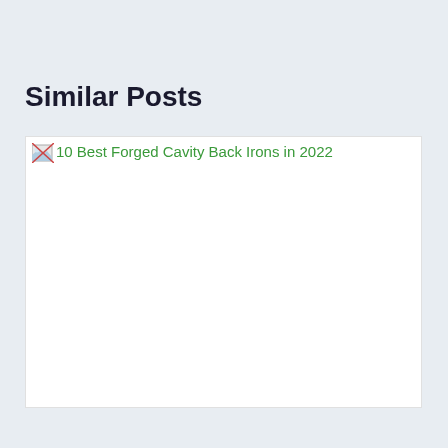Similar Posts
[Figure (photo): Broken image placeholder with alt text '10 Best Forged Cavity Back Irons in 2022'. The image failed to load and shows only the alt text in green and a broken image icon, with a white rectangle below.]